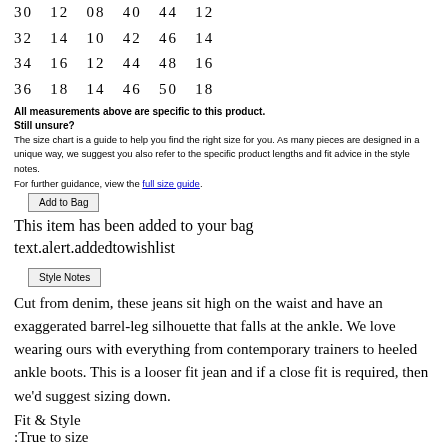30   12   08   40   44   12
32   14   10   42   46   14
34   16   12   44   48   16
36   18   14   46   50   18
All measurements above are specific to this product.
Still unsure?
The size chart is a guide to help you find the right size for you. As many pieces are designed in a unique way, we suggest you also refer to the specific product lengths and fit advice in the style notes.
For further guidance, view the full size guide.
Add to Bag
This item has been added to your bag
text.alert.addedtowishlist
Style Notes
Cut from denim, these jeans sit high on the waist and have an exaggerated barrel-leg silhouette that falls at the ankle. We love wearing ours with everything from contemporary trainers to heeled ankle boots. This is a looser fit jean and if a close fit is required, then we'd suggest sizing down.
Fit & Style
:True to size